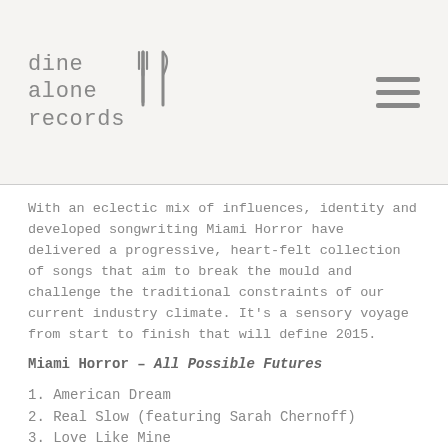dine alone records
With an eclectic mix of influences, identity and developed songwriting Miami Horror have delivered a progressive, heart-felt collection of songs that aim to break the mould and challenge the traditional constraints of our current industry climate. It's a sensory voyage from start to finish that will define 2015.
Miami Horror – All Possible Futures
1. American Dream
2. Real Slow (featuring Sarah Chernoff)
3. Love Like Mine
4. Cellophane (So Cruel)
5. Wild Motion